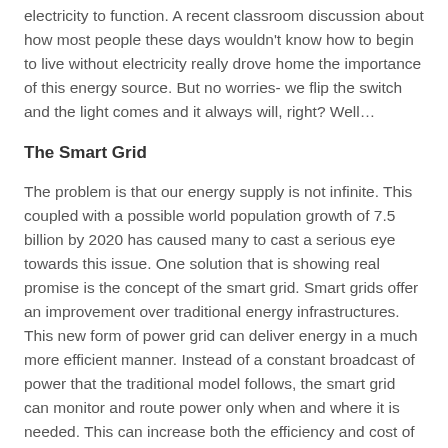electricity to function. A recent classroom discussion about how most people these days wouldn't know how to begin to live without electricity really drove home the importance of this energy source. But no worries- we flip the switch and the light comes and it always will, right? Well…
The Smart Grid
The problem is that our energy supply is not infinite. This coupled with a possible world population growth of 7.5 billion by 2020 has caused many to cast a serious eye towards this issue. One solution that is showing real promise is the concept of the smart grid. Smart grids offer an improvement over traditional energy infrastructures. This new form of power grid can deliver energy in a much more efficient manner. Instead of a constant broadcast of power that the traditional model follows, the smart grid can monitor and route power only when and where it is needed. This can increase both the efficiency and cost of energy supply. One specific problem the smart grid can help with is outages. Outages cost U.S. businesses billions of dollars in lost revenue each year. The smart grid could conceivably be able